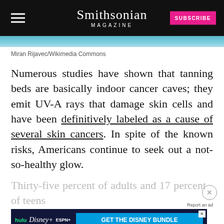Smithsonian MAGAZINE
[Figure (photo): Partial view of a tanning bed shown in teal/blue tones, cropped at top of page]
Miran Rijavec/Wikimedia Commons
Numerous studies have shown that tanning beds are basically indoor cancer caves; they emit UV-A rays that damage skin cells and have been definitively labeled as a cause of several skin cancers. In spite of the known risks, Americans continue to seek out a not-so-healthy glow.
Thirty-five percent of adults and 17 percent of teens ... their lifeti... ... y of